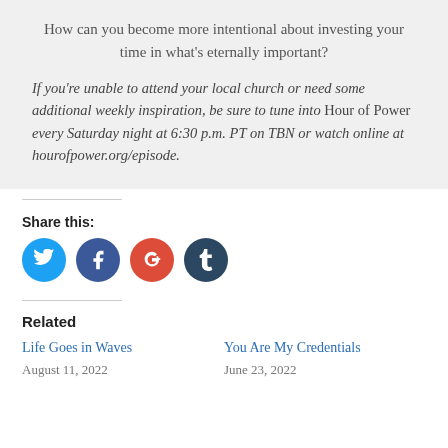How can you become more intentional about investing your time in what's eternally important?
If you're unable to attend your local church or need some additional weekly inspiration, be sure to tune into Hour of Power every Saturday night at 6:30 p.m. PT on TBN or watch online at hourofpower.org/episode.
Share this:
[Figure (infographic): Four social media share icons: Twitter (blue), Facebook (dark blue), Google+ (red-orange), Tumblr (dark navy)]
Related
Life Goes in Waves
August 11, 2022
You Are My Credentials
June 23, 2022